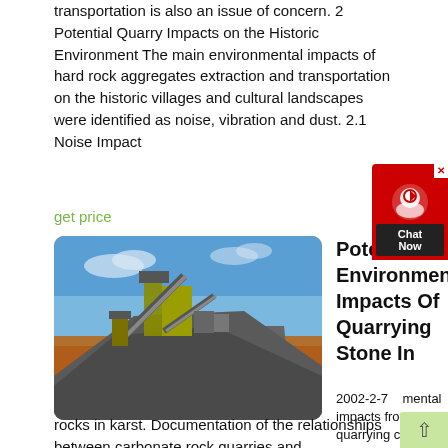transportation is also an issue of concern. 2 Potential Quarry Impacts on the Historic Environment The main environmental impacts of hard rock aggregates extraction and transportation on the historic villages and cultural landscapes were identified as noise, vibration and dust. 2.1 Noise Impact
get price
[Figure (photo): Photo of a stone quarrying operation showing industrial crushing equipment with conveyor belts against a blue sky, and a large pile of crushed stone/gravel in the foreground on red earth ground.]
Potential Environmental Impacts Of Quarrying Stone In
2002-2-7   mental impacts from quarrying carbon-ate rocks in karst. Documentation of the relationships between carbonate rock quarries and environmental problems in karst has existed for nearly fi fty years, but is scarce. There are numerous arti-cles in the literature that describe envi-ronmental impacts on karst from human